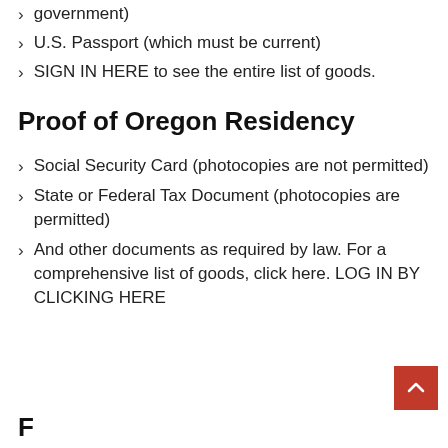government)
U.S. Passport (which must be current)
SIGN IN HERE to see the entire list of goods.
Proof of Oregon Residency
Social Security Card (photocopies are not permitted)
State or Federal Tax Document (photocopies are permitted)
And other documents as required by law. For a comprehensive list of goods, click here. LOG IN BY CLICKING HERE